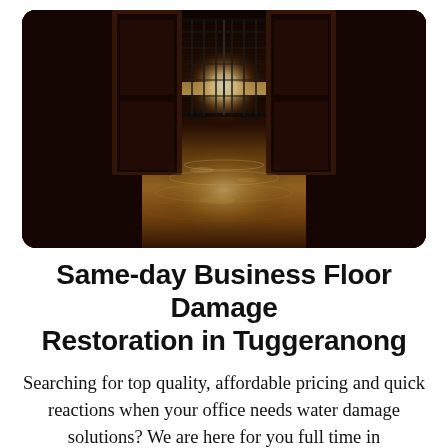[Figure (photo): A flooded hallway with wet reflective tiled floor, ornate dark metal gate doors open at the far end letting in bright backlight, dark wooden walls on the sides, water pooling on the floor creating mirror-like reflections.]
Same-day Business Floor Damage Restoration in Tuggeranong
Searching for top quality, affordable pricing and quick reactions when your office needs water damage solutions? We are here for you full time in